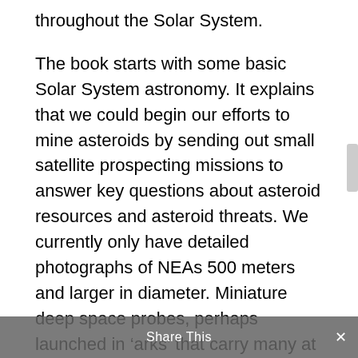throughout the Solar System.
The book starts with some basic Solar System astronomy. It explains that we could begin our efforts to mine asteroids by sending out small satellite prospecting missions to answer key questions about asteroid resources and asteroid threats. We currently only have detailed photographs of NEAs 500 meters and larger in diameter. Miniature deep space probes, perhaps launched in 'arks' that carry many at once, could be sent out to sample smaller space objects. But even before we start, there is much that we already know from Earth's
Share This ×